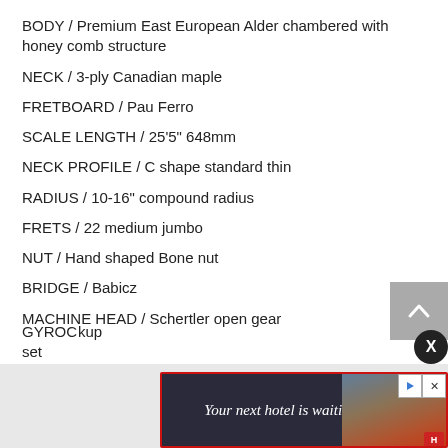BODY / Premium East European Alder chambered with honey comb structure
NECK / 3-ply Canadian maple
FRETBOARD / Pau Ferro
SCALE LENGTH / 25'5" 648mm
NECK PROFILE / C shape standard thin
RADIUS / 10-16" compound radius
FRETS / 22 medium jumbo
NUT / Hand shaped Bone nut
BRIDGE / Babicz
MACHINE HEAD / Schertler open gear
GYRO... ...kup set
[Figure (other): Advertisement banner: 'Your next hotel is waiting for you' with hotel image on right side, play and close buttons at top right]